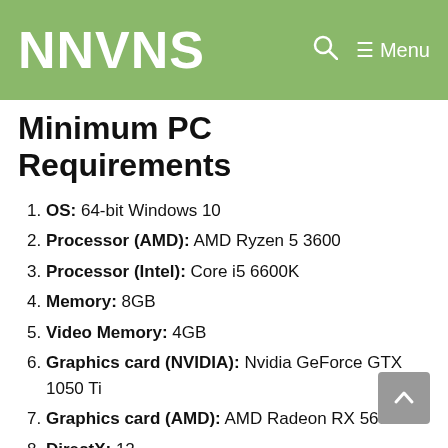NNVNS   🔍   ≡ Menu
Minimum PC Requirements
OS: 64-bit Windows 10
Processor (AMD): AMD Ryzen 5 3600
Processor (Intel): Core i5 6600K
Memory: 8GB
Video Memory: 4GB
Graphics card (NVIDIA): Nvidia GeForce GTX 1050 Ti
Graphics card (AMD): AMD Radeon RX 560
DirectX: 12
Online Connection Requirements: 512